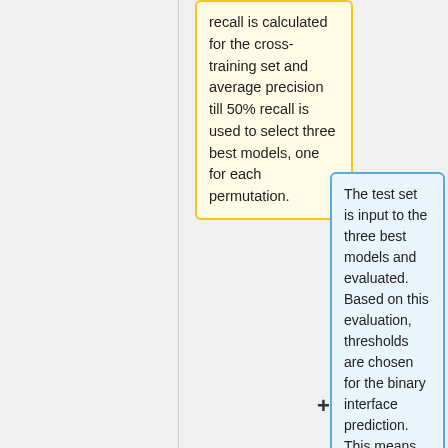recall is calculated for the cross-training set and average precision till 50% recall is used to select three best models, one for each permutation.
The test set is input to the three best models and evaluated. Based on this evaluation, thresholds are chosen for the binary interface prediction. This means all residues with a score above a threshold are predicted as binding site and below as non-binding residues. The higher